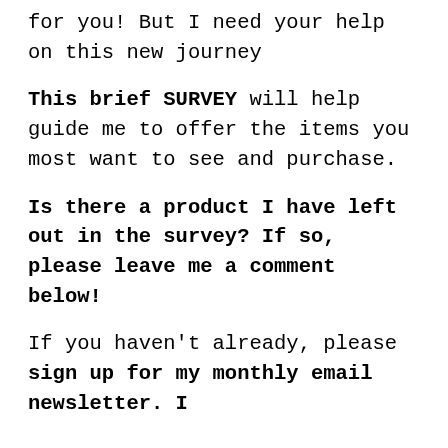for you! But I need your help on this new journey
This brief SURVEY will help guide me to offer the items you most want to see and purchase.
Is there a product I have left out in the survey? If so, please leave me a comment below!
If you haven't already, please sign up for my monthly email newsletter. I...